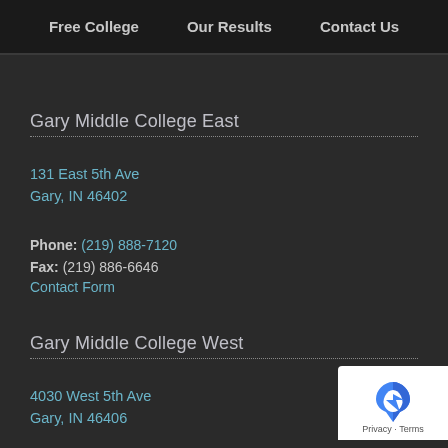Free College   Our Results   Contact Us
Gary Middle College East
131 East 5th Ave
Gary, IN 46402
Phone: (219) 888-7120
Fax: (219) 886-6646
Contact Form
Gary Middle College West
4030 West 5th Ave
Gary, IN 46406